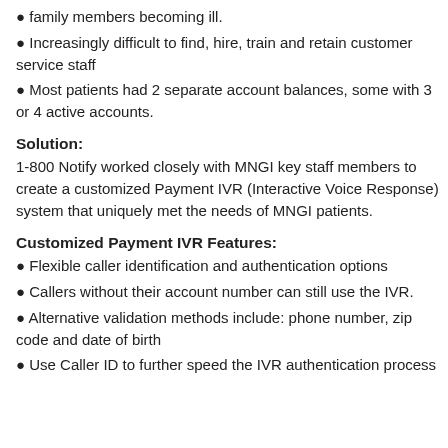● family members becoming ill.
● Increasingly difficult to find, hire, train and retain customer service staff
● Most patients had 2 separate account balances, some with 3 or 4 active accounts.
Solution:
1-800 Notify worked closely with MNGI key staff members to create a customized Payment IVR (Interactive Voice Response) system that uniquely met the needs of MNGI patients.
Customized Payment IVR Features:
● Flexible caller identification and authentication options
● Callers without their account number can still use the IVR.
● Alternative validation methods include: phone number, zip code and date of birth
● Use Caller ID to further speed the IVR authentication process